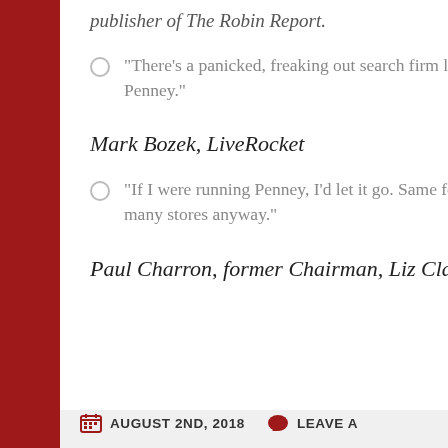publisher of The Robin Report.
“There’s a panicked, freaking out search firm looking for a new CEO for Penney.”
Mark Bozek, LiveRocket
“If I were running Penney, I’d let it go. Same for K-mart and Sears. We have too many stores anyway.”
Paul Charron, former Chairman, Liz Claiborne
AUGUST 2ND, 2018   LEAVE A